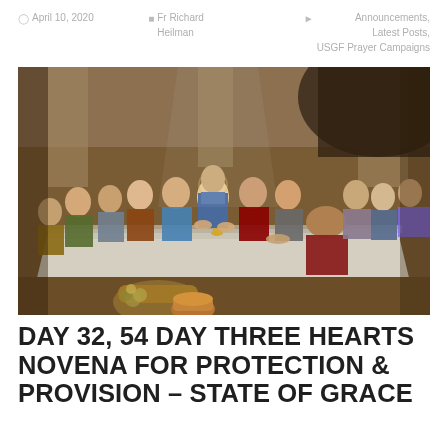April 10, 2020   Fr Richard Heilman   Announcements, Latest Posts, USGF Prayer Campaigns
[Figure (illustration): Classical oil painting of The Last Supper showing Jesus and the twelve apostles seated at a long table, with dramatic lighting and Renaissance-style composition.]
DAY 32, 54 DAY THREE HEARTS NOVENA FOR PROTECTION & PROVISION – STATE OF GRACE